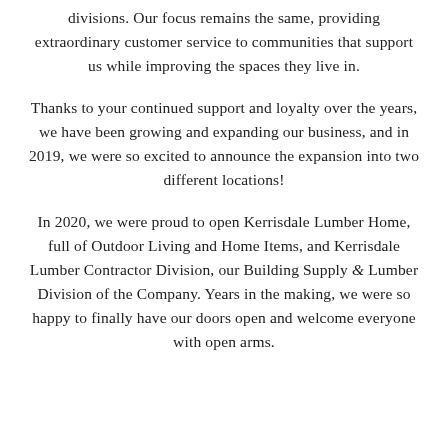divisions. Our focus remains the same, providing extraordinary customer service to communities that support us while improving the spaces they live in.
Thanks to your continued support and loyalty over the years, we have been growing and expanding our business, and in 2019, we were so excited to announce the expansion into two different locations!
In 2020, we were proud to open Kerrisdale Lumber Home, full of Outdoor Living and Home Items, and Kerrisdale Lumber Contractor Division, our Building Supply & Lumber Division of the Company. Years in the making, we were so happy to finally have our doors open and welcome everyone with open arms.